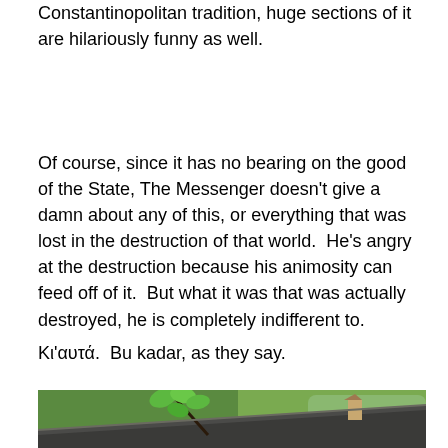Constantinopolitan tradition, huge sections of it are hilariously funny as well.
Of course, since it has no bearing on the good of the State, The Messenger doesn't give a damn about any of this, or everything that was lost in the destruction of that world.  He's angry at the destruction because his animosity can feed off of it.  But what it was that was actually destroyed, he is completely indifferent to.
Κι'αυτά.  Bu kadar, as they say.
[Figure (photo): Outdoor scene showing a traditional tiled roof with overhanging tree branches with green leaves in the foreground, and green forested hills with a building visible in the background.]